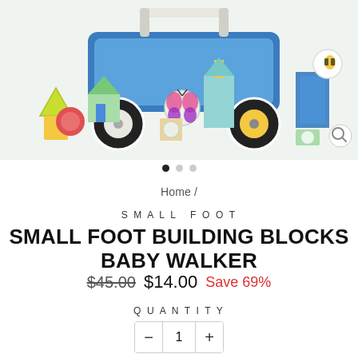[Figure (photo): Small Foot Building Blocks Baby Walker toy product photo showing colorful wooden blocks and a baby walker with animal illustrations]
Home /
SMALL FOOT
SMALL FOOT BUILDING BLOCKS BABY WALKER
$45.00  $14.00  Save 69%
QUANTITY
- 1 +